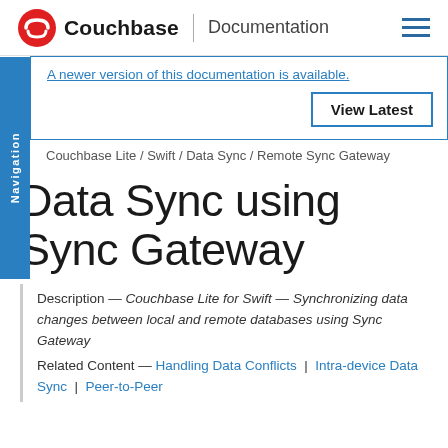Couchbase | Documentation
A newer version of this documentation is available.
View Latest
Navigation
Couchbase Lite / Swift / Data Sync / Remote Sync Gateway
Data Sync using Sync Gateway
Description — Couchbase Lite for Swift — Synchronizing data changes between local and remote databases using Sync Gateway
Related Content — Handling Data Conflicts | Intra-device Data Sync | Peer-to-Peer